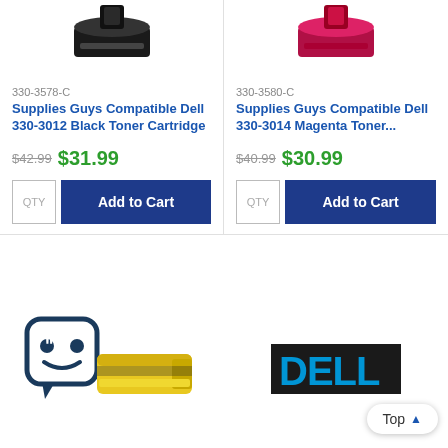[Figure (photo): Black toner cartridge product image (top portion visible)]
330-3578-C
Supplies Guys Compatible Dell 330-3012 Black Toner Cartridge
$42.99  $31.99
QTY  Add to Cart
[Figure (photo): Magenta toner cartridge product image (top portion visible)]
330-3580-C
Supplies Guys Compatible Dell 330-3014 Magenta Toner...
$40.99  $30.99
QTY  Add to Cart
[Figure (photo): Yellow toner cartridge with chat/robot mascot icon (Supplies Guys logo area)]
[Figure (logo): DELL logo in blue and black]
Top ^